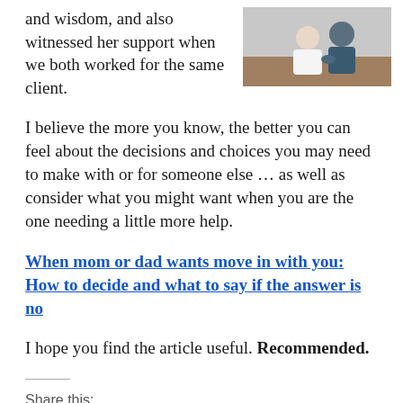and wisdom, and also witnessed her support when we both worked for the same client.
[Figure (photo): Two people sitting together, one appears to be comforting the other.]
I believe the more you know, the better you can feel about the decisions and choices you may need to make with or for someone else … as well as consider what you might want when you are the one needing a little more help.
When mom or dad wants move in with you: How to decide and what to say if the answer is no
I hope you find the article useful. Recommended.
Share this: